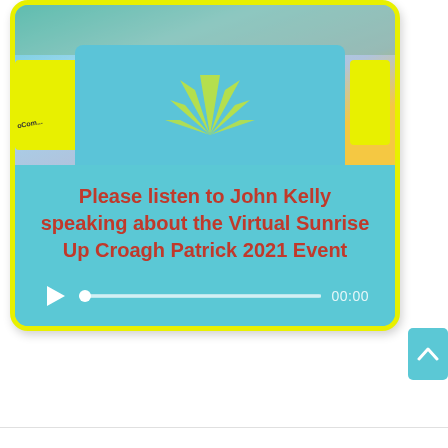[Figure (photo): Photo of person wearing a light blue shirt with yellow sun-ray design and a yellow short-sleeve shirt or jacket. Background shows foliage. Partially cropped at top.]
Please listen to John Kelly speaking about the Virtual Sunrise Up Croagh Patrick 2021 Event
[Figure (other): Audio player widget with play button, progress bar with dot indicator at start, and time display showing 00:00]